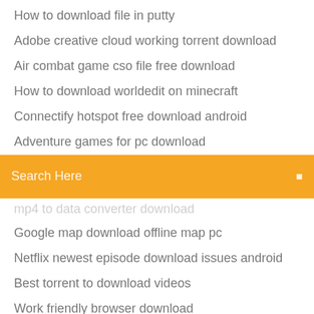How to download file in putty
Adobe creative cloud working torrent download
Air combat game cso file free download
How to download worldedit on minecraft
Connectify hotspot free download android
Adventure games for pc download
[Figure (screenshot): Orange/yellow search bar with placeholder text 'Search Here' and a small icon on the right]
mp4 to data converter download (truncated/partially visible)
Google map download offline map pc
Netflix newest episode download issues android
Best torrent to download videos
Work friendly browser download
Download apk avg cleaner pro
Crack version of ummy video downloader
Huawei erecovery download new version and recovery program
Android phone slow download